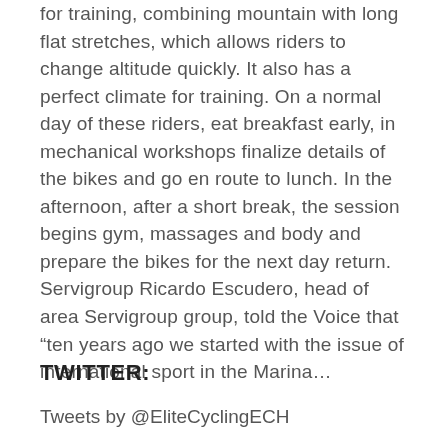for training, combining mountain with long flat stretches, which allows riders to change altitude quickly. It also has a perfect climate for training. On a normal day of these riders, eat breakfast early, in mechanical workshops finalize details of the bikes and go en route to lunch. In the afternoon, after a short break, the session begins gym, massages and body and prepare the bikes for the next day return. Servigroup Ricardo Escudero, head of area Servigroup group, told the Voice that “ten years ago we started with the issue of international sport in the Marina…
TWITTER:
Tweets by @EliteCyclingECH